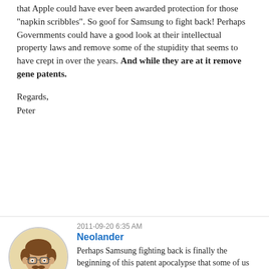that Apple could have ever been awarded protection for those "napkin scribbles". So goof for Samsung to fight back! Perhaps Governments could have a good look at their intellectual property laws and remove some of the stupidity that seems to have crept in over the years. And while they are at it remove gene patents.
Regards,
Peter
2011-09-20 6:35 AM
Neolander
[Figure (illustration): Circular avatar illustration of a person with brown hair, glasses, and a mustache, wearing a light-colored shirt, with a beige/tan background.]
Perhaps Samsung fighting back is finally the beginning of this patent apocalypse that some of us have been wishing for. The tech world going on the legal variant of a pillow fight until regulators intervene and put some reason in this patent madness.